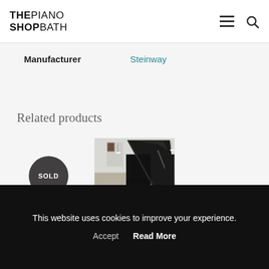THE PIANO SHOP BATH
| Manufacturer |  |
| --- | --- |
| Manufacturer | Steinway |
Related products
[Figure (photo): A black grand piano with lid open, photographed in a showroom with white walls and warm lighting. A dark circular 'SOLD' badge appears in the upper left.]
This website uses cookies to improve your experience.
Accept   Read More